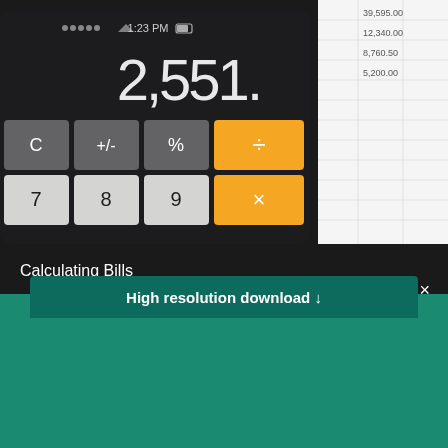[Figure (photo): Close-up photo of a smartphone calculator app showing the number 2,551. displayed on a dark screen with calculator keys visible (C, +/-, %, ÷, 8, 9), with an orange division key, placed on top of a spreadsheet/paper with numbers]
Calculating Bills
High resolution download ↓
[Figure (logo): Shopify logo — white shopping bag icon with 's' and the word 'shopify' in white text on teal/green background]
Need an online store for your business?
Start free trial